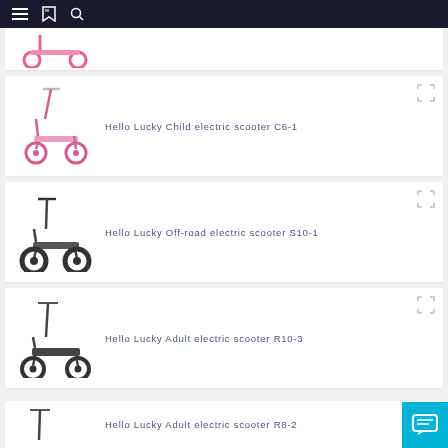Navigation bar with menu, bookmark, and search icons
[Figure (photo): Partial view of a pink child scooter product card at top]
Hello Lucky Child electric scooter C6-1
Hello Lucky Off-road electric scooter S10-1
Hello Lucky Adult electric scooter R10-3
Hello Lucky Adult electric scooter R8-2